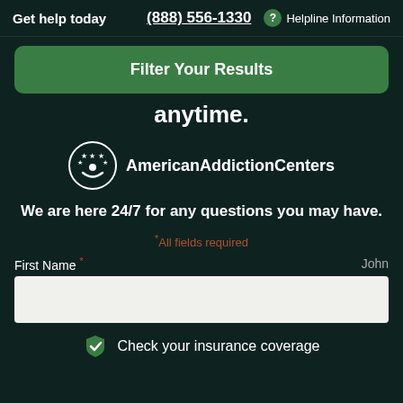Get help today | (888) 556-1330 | Helpline Information
Filter Your Results
anytime.
[Figure (logo): American Addiction Centers logo: circle with stars and smile arc, next to text 'AmericanAddictionCenters']
We are here 24/7 for any questions you may have.
*All fields required
First Name * John
Check your insurance coverage